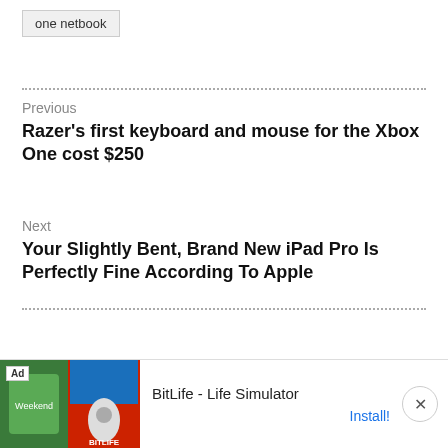one netbook
Previous
Razer's first keyboard and mouse for the Xbox One cost $250
Next
Your Slightly Bent, Brand New iPad Pro Is Perfectly Fine According To Apple
[Figure (other): Advertisement banner for BitLife - Life Simulator app with colorful imagery and Install button]